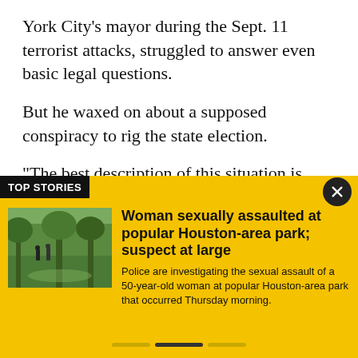York City's mayor during the Sept. 11 terrorist attacks, struggled to answer even basic legal questions.
But he waxed on about a supposed conspiracy to rig the state election.
“The best description of this situation is widespread, nationwide voter fraud,” Giuliani argued. Under questioning, though, he acknowledged their complaint
TOP STORIES
[Figure (photo): Outdoor park scene with people and trees]
Woman sexually assaulted at popular Houston-area park; suspect at large
Police are investigating the sexual assault of a 50-year-old woman at popular Houston-area park that occurred Thursday morning.